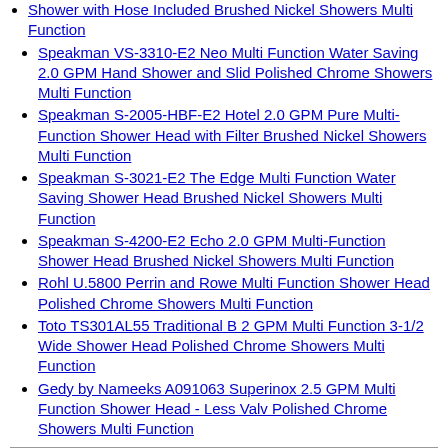Shower with Hose Included Brushed Nickel Showers Multi Function
Speakman VS-3310-E2 Neo Multi Function Water Saving 2.0 GPM Hand Shower and Slid Polished Chrome Showers Multi Function
Speakman S-2005-HBF-E2 Hotel 2.0 GPM Pure Multi-Function Shower Head with Filter Brushed Nickel Showers Multi Function
Speakman S-3021-E2 The Edge Multi Function Water Saving Shower Head Brushed Nickel Showers Multi Function
Speakman S-4200-E2 Echo 2.0 GPM Multi-Function Shower Head Brushed Nickel Showers Multi Function
Rohl U.5800 Perrin and Rowe Multi Function Shower Head Polished Chrome Showers Multi Function
Toto TS301AL55 Traditional B 2 GPM Multi Function 3-1/2 Wide Shower Head Polished Chrome Showers Multi Function
Gedy by Nameeks A091063 Superinox 2.5 GPM Multi Function Shower Head - Less Valv Polished Chrome Showers Multi Function
© BLOG 2016